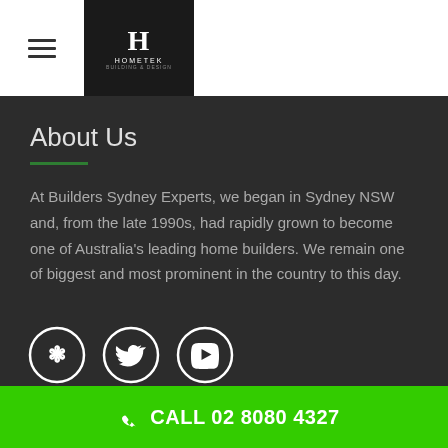Hometek logo and navigation
About Us
At Builders Sydney Experts, we began in Sydney NSW and, from the late 1990s, had rapidly grown to become one of Australia's leading home builders. We remain one of biggest and most prominent in the country to this day.
[Figure (logo): Social media icons: Yelp, Twitter, YouTube in white circle outlines]
CALL 02 8080 4327